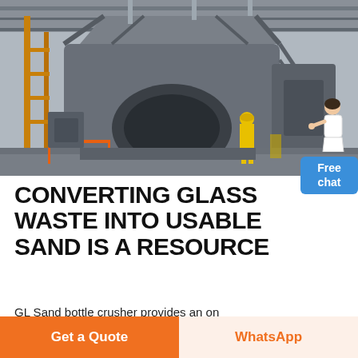[Figure (photo): Industrial crushing/milling machinery inside a large factory/warehouse. A worker in yellow safety gear stands near the large grey machine. Scaffolding and orange railings are visible.]
CONVERTING GLASS WASTE INTO USABLE SAND IS A RESOURCE
GL Sand bottle crusher provides an on
Haga clic para chatear